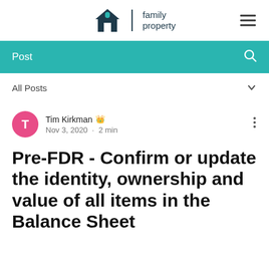[Figure (logo): Family Property logo: house icon with 'family property' text and vertical divider, plus hamburger menu icon on right]
Post
All Posts
Tim Kirkman 👑 Nov 3, 2020 · 2 min
Pre-FDR - Confirm or update the identity, ownership and value of all items in the Balance Sheet